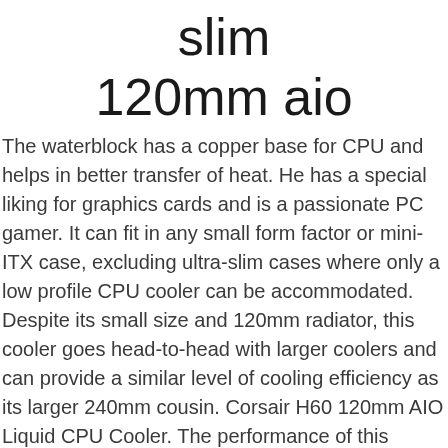slim
120mm aio
The waterblock has a copper base for CPU and helps in better transfer of heat. He has a special liking for graphics cards and is a passionate PC gamer. It can fit in any small form factor or mini-ITX case, excluding ultra-slim cases where only a low profile CPU cooler can be accommodated. Despite its small size and 120mm radiator, this cooler goes head-to-head with larger coolers and can provide a similar level of cooling efficiency as its larger 240mm cousin. Corsair H60 120mm AIO Liquid CPU Cooler. The performance of this 120mm AIO is pretty good, and it can handle Core i5 and Ryzen 5 processors at stock speeds easily. It comes with an Aluminum radiator that is 32mm in width and an Aer P120 fan, which is a high static pressure fan. The cool